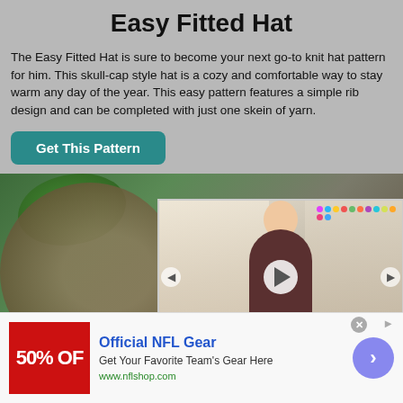Easy Fitted Hat
The Easy Fitted Hat is sure to become your next go-to knit hat pattern for him. This skull-cap style hat is a cozy and comfortable way to stay warm any day of the year. This easy pattern features a simple rib design and can be completed with just one skein of yarn.
[Figure (other): Button labeled 'Get This Pattern' in teal/dark cyan rounded rectangle]
[Figure (photo): Video player showing a woman in a craft room with colorful supplies on shelves. A play button is visible in the center. Name bar reads 'Heidi Gustad Ha...' Below is a close-up of a knitted hat and green leaves in the foreground.]
[Figure (other): Advertisement banner for Official NFL Gear showing '50% OFF' in red, text 'Get Your Favorite Team's Gear Here', URL 'www.nflshop.com', and a blue circle arrow button. Close X button visible.]